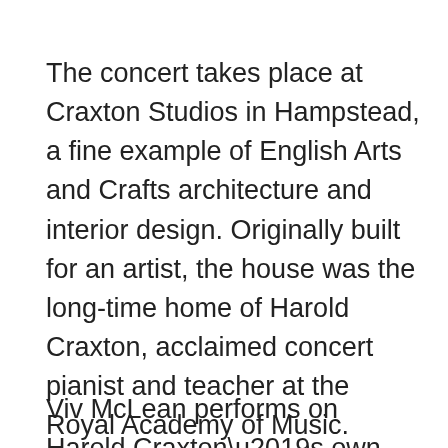The concert takes place at Craxton Studios in Hampstead, a fine example of English Arts and Crafts architecture and interior design. Originally built for an artist, the house was the long-time home of Harold Craxton, acclaimed concert pianist and teacher at the Royal Academy of Music. Craxton’s home became a creative hub for musicians, artists and writers – a tradition which continues to this day as the studio is regularly used for concerts, auditions, recordings and filming.
Viv McLean performs on Harold Craxton’s own